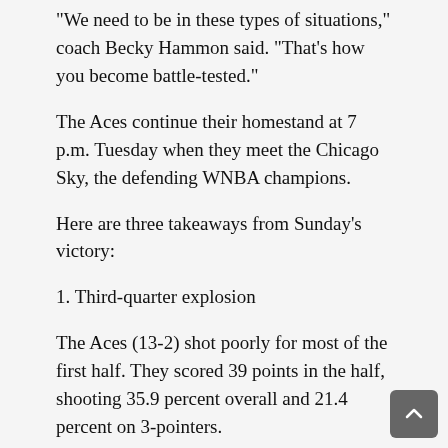“We need to be in these types of situations,” coach Becky Hammon said. “That’s how you become battle-tested.”
The Aces continue their homestand at 7 p.m. Tuesday when they meet the Chicago Sky, the defending WNBA champions.
Here are three takeaways from Sunday’s victory:
1. Third-quarter explosion
The Aces (13-2) shot poorly for most of the first half. They scored 39 points in the half, shooting 35.9 percent overall and 21.4 percent on 3-pointers.
“We can give a lot more than what we did in the first half,” Wilson said. “That wasn’t us. The feeling wasn’t good.”
The second half didn’t start much better when forward Nikolina Milic hit a 3-pointer 17 seconds into the half to give the Lynx (3-13) a 14-point lead.
But the Aces then got their wakeup call. They rattled off a 20-7 run in the first five minutes of the half, punctuated by a 3-pointer from wing Jackie Young. Plum (13 points) and Wilson